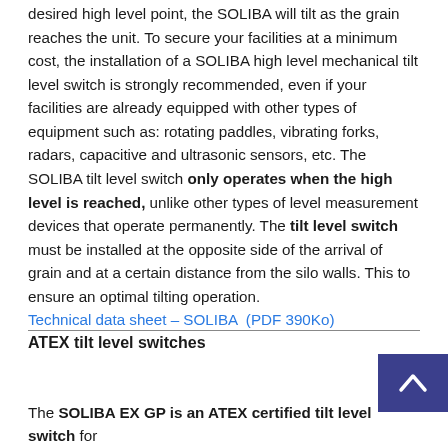desired high level point, the SOLIBA will tilt as the grain reaches the unit. To secure your facilities at a minimum cost, the installation of a SOLIBA high level mechanical tilt level switch is strongly recommended, even if your facilities are already equipped with other types of equipment such as: rotating paddles, vibrating forks, radars, capacitive and ultrasonic sensors, etc. The SOLIBA tilt level switch only operates when the high level is reached, unlike other types of level measurement devices that operate permanently. The tilt level switch must be installed at the opposite side of the arrival of grain and at a certain distance from the silo walls. This to ensure an optimal tilting operation. Technical data sheet – SOLIBA  (PDF 390Ko)
ATEX tilt level switches
The SOLIBA EX GP is an ATEX certified tilt level switch for